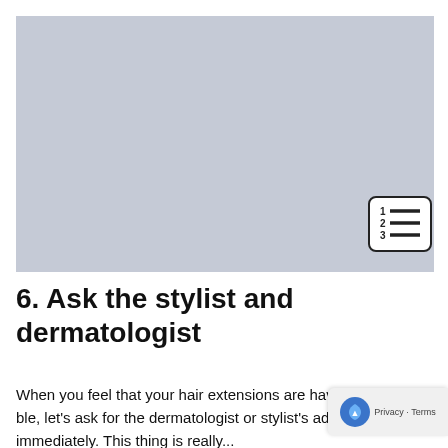[Figure (photo): A light grey/blue placeholder image area occupying the top portion of the page]
6. Ask the stylist and dermatologist
When you feel that your hair extensions are having trou... let's ask for the dermatologist or stylist's advice immed... This thing is really...